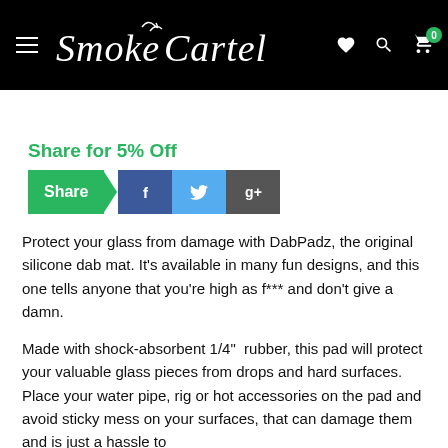Smoke Cartel — navigation header with logo, menu, wishlist, search, cart (0)
Share for 5% Off
[Figure (infographic): Share button row: green Share button with arrow, Facebook (f), Twitter (bird), Google+ (g+) social icons]
Protect your glass from damage with DabPadz, the original silicone dab mat. It's available in many fun designs, and this one tells anyone that you're high as f*** and don't give a damn.
Made with shock-absorbent 1/4" rubber, this pad will protect your valuable glass pieces from drops and hard surfaces. Place your water pipe, rig or hot accessories on the pad and avoid sticky mess on your surfaces, that can damage them and is just a hassle to